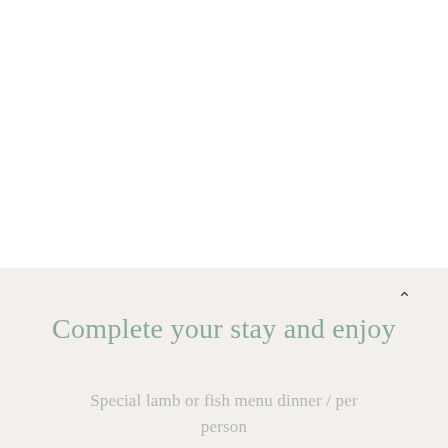Complete your stay and enjoy
Special lamb or fish menu dinner / per person